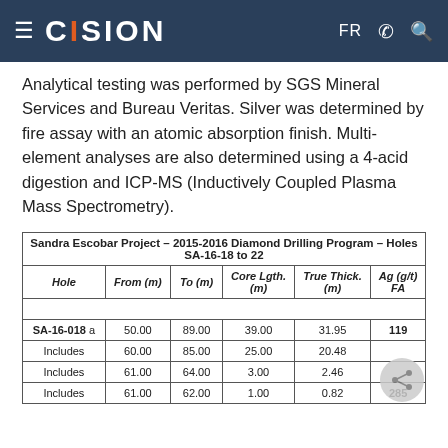CISION — FR navigation header
Analytical testing was performed by SGS Mineral Services and Bureau Veritas. Silver was determined by fire assay with an atomic absorption finish. Multi-element analyses are also determined using a 4-acid digestion and ICP-MS (Inductively Coupled Plasma Mass Spectrometry).
| Hole | From (m) | To (m) | Core Lgth. (m) | True Thick. (m) | Ag (g/t) FA |
| --- | --- | --- | --- | --- | --- |
| SA-16-018 a | 50.00 | 89.00 | 39.00 | 31.95 | 119 |
| Includes | 60.00 | 85.00 | 25.00 | 20.48 |  |
| Includes | 61.00 | 64.00 | 3.00 | 2.46 |  |
| Includes | 61.00 | 62.00 | 1.00 | 0.82 | 285 |